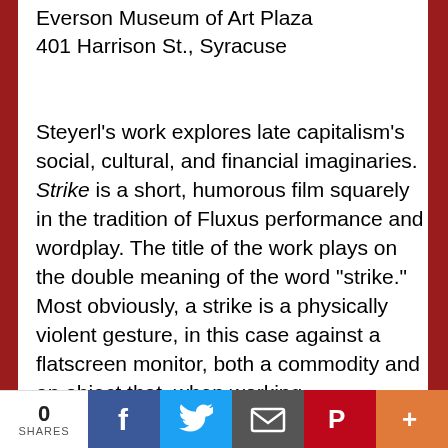Everson Museum of Art Plaza
401 Harrison St., Syracuse
Steyerl's work explores late capitalism's social, cultural, and financial imaginaries. Strike is a short, humorous film squarely in the tradition of Fluxus performance and wordplay. The title of the work plays on the double meaning of the word "strike." Most obviously, a strike is a physically violent gesture, in this case against a flatscreen monitor, both a commodity and an object that, when working, "disappears" behind the spectacle it presents. On the other hand, a strike is a strategic refusal to work. The double meaning here short circuits our contemporary split identity as consumer-workers.
Screening begins at dusk.
0 SHARES | Facebook | Twitter | Email | Pinterest | More